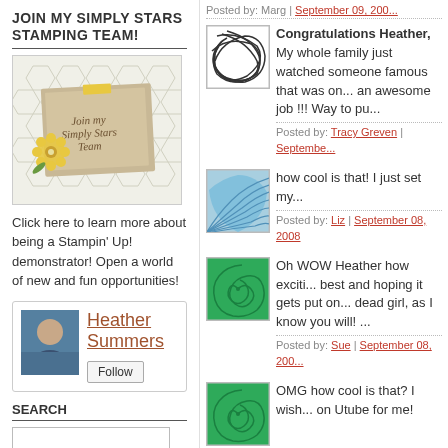JOIN MY SIMPLY STARS STAMPING TEAM!
[Figure (illustration): Join my Simply Stars Team promotional image with honeycomb background, card and flower decoration]
Click here to learn more about being a Stampin' Up! demonstrator! Open a world of new and fun opportunities!
[Figure (photo): Profile photo of Heather Summers]
Heather Summers
Search
Posted by: Marg | September 09, 200...
[Figure (illustration): Comment avatar - abstract black lines on white]
Congratulations Heather,
My whole family just watched someone famous that was on... an awesome job !!! Way to pu...
Posted by: Tracy Greven | Septembe...
[Figure (illustration): Comment avatar - blue wave/fan pattern]
how cool is that! I just set my...
Posted by: Liz | September 08, 2008
[Figure (illustration): Comment avatar - green spiral pattern]
Oh WOW Heather how exciti... best and hoping it gets put on... dead girl, as I know you will! ...
Posted by: Sue | September 08, 200...
[Figure (illustration): Comment avatar - green spiral pattern]
OMG how cool is that? I wish... on Utube for me!